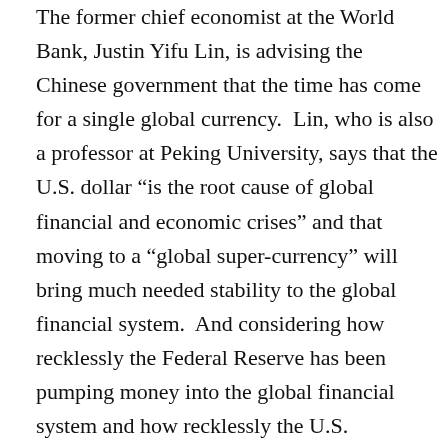The former chief economist at the World Bank, Justin Yifu Lin, is advising the Chinese government that the time has come for a single global currency.  Lin, who is also a professor at Peking University, says that the U.S. dollar “is the root cause of global financial and economic crises” and that moving to a “global super-currency” will bring much needed stability to the global financial system.  And considering how recklessly the Federal Reserve has been pumping money into the global financial system and how recklessly the U.S. government has been going into debt, it is hard to argue with his logic.  Why would anyone want to trust the United States to continue to run things after how badly we have abused our position?  The United States has greatly benefited from having the de facto reserve currency of the planet for the past several decades, but now that era is coming to an end.  In fact, the